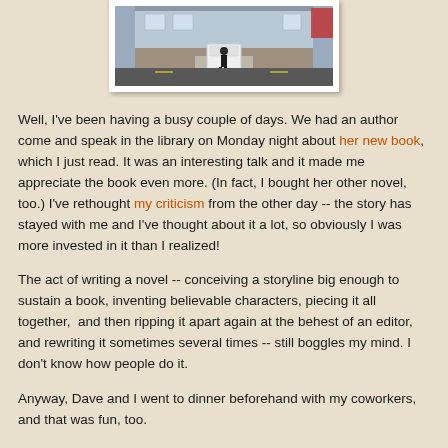[Figure (photo): Photograph of a building exterior with white door, brick facade, and a person standing in front]
Well, I've been having a busy couple of days. We had an author come and speak in the library on Monday night about her new book, which I just read. It was an interesting talk and it made me appreciate the book even more. (In fact, I bought her other novel, too.) I've rethought my criticism from the other day -- the story has stayed with me and I've thought about it a lot, so obviously I was more invested in it than I realized!
The act of writing a novel -- conceiving a storyline big enough to sustain a book, inventing believable characters, piecing it all together,  and then ripping it apart again at the behest of an editor, and rewriting it sometimes several times -- still boggles my mind. I don't know how people do it.
Anyway, Dave and I went to dinner beforehand with my coworkers, and that was fun, too.